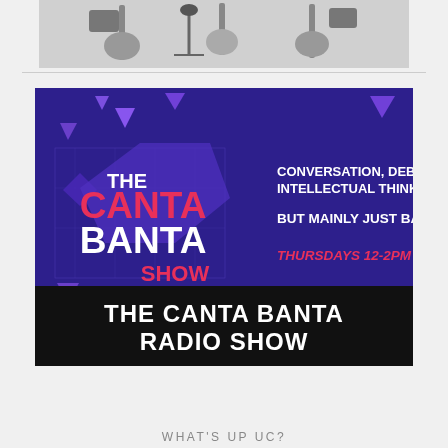[Figure (photo): Black and white photo strip showing guitars and music equipment on stands]
[Figure (illustration): The Canta Banta Show promotional graphic on dark purple background with triangles. Text reads: THE CANTA BANTA SHOW — CONVERSATION, DEBATE, INTELLECTUAL THINKING... BUT MAINLY JUST BANTER. THURSDAYS 12-2PM]
THE CANTA BANTA RADIO SHOW
WHAT'S UP UC?